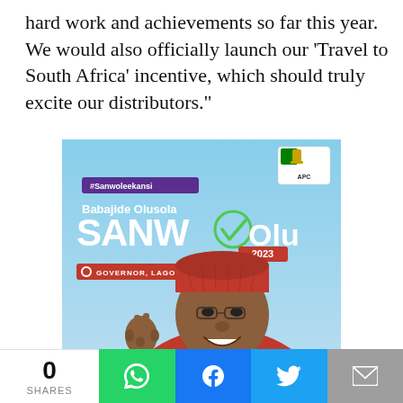hard work and achievements so far this year. We would also officially launch our 'Travel to South Africa' incentive, which should truly excite our distributors."
[Figure (photo): Political campaign poster for Babajide Olusola Sanwo-Olu, APC candidate for Governor of Lagos State 2023. Features a large stylized 'SANWO-Olu 2023' logo with a checkmark, hashtag #Sanwoleekansi, and a photo of the candidate wearing a red traditional cap and glasses, giving a peace/victory sign.]
0 SHARES | WhatsApp | Facebook | Twitter | Email